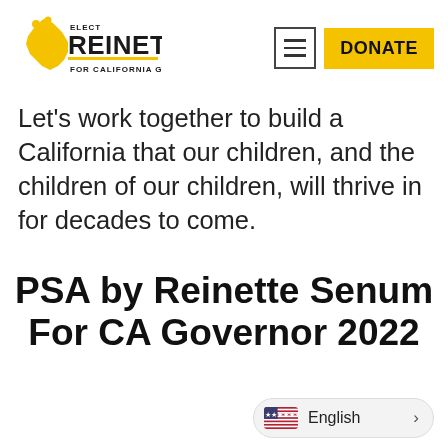[Figure (logo): Elect Reinette for California Governor logo with California bear shape in gold/yellow, text REINETTE in bold dark letters]
Let's work together to build a California that our children, and the children of our children, will thrive in for decades to come.
PSA by Reinette Senum For CA Governor 2022
English